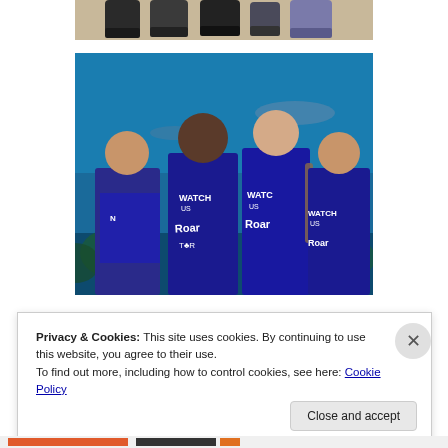[Figure (photo): Cropped bottom portion of a photo showing children's feet and shoes on a floor]
[Figure (photo): Four children wearing blue 'Watch Us Roar' T-shirts standing in front of an aquarium tank with fish and coral visible]
Privacy & Cookies: This site uses cookies. By continuing to use this website, you agree to their use.
To find out more, including how to control cookies, see here: Cookie Policy
Close and accept